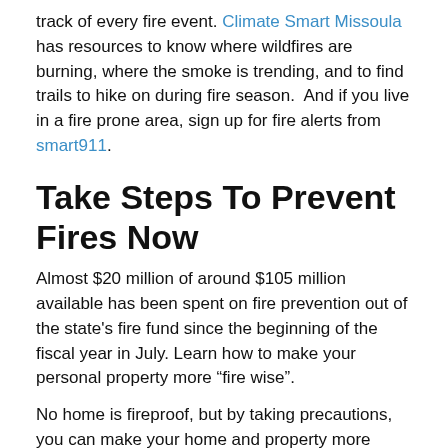track of every fire event. Climate Smart Missoula has resources to know where wildfires are burning, where the smoke is trending, and to find trails to hike on during fire season.  And if you live in a fire prone area, sign up for fire alerts from smart911.
Take Steps To Prevent Fires Now
Almost $20 million of around $105 million available has been spent on fire prevention out of the state’s fire fund since the beginning of the fiscal year in July. Learn how to make your personal property more “fire wise”.
No home is fireproof, but by taking precautions, you can make your home and property more resistant to wildfire:
Keep the gutters, roof and outdoor spaces free of debris like leaves and twigs.
Clean out inside spaces and setting...